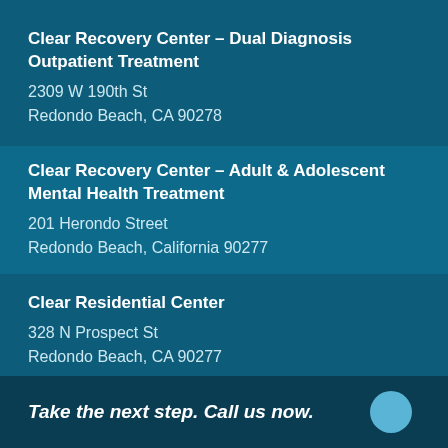Clear Recovery Center – Dual Diagnosis Outpatient Treatment
2309 W 190th St
Redondo Beach, CA 90278
Clear Recovery Center – Adult & Adolescent Mental Health Treatment
201 Herondo Street
Redondo Beach, California 90277
Clear Residential Center
328 N Prospect St
Redondo Beach, CA 90277
Take the next step. Call us now.